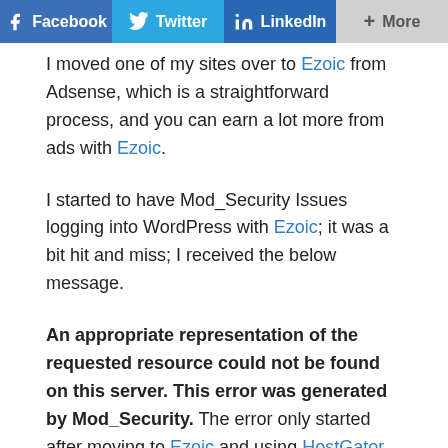[Figure (other): Social share bar with Facebook, Twitter, LinkedIn, and More buttons]
I moved one of my sites over to Ezoic from Adsense, which is a straightforward process, and you can earn a lot more from ads with Ezoic.
I started to have Mod_Security Issues logging into WordPress with Ezoic; it was a bit hit and miss; I received the below message.
An appropriate representation of the requested resource could not be found on this server. This error was generated by Mod_Security. The error only started after moving to Ezoic and using HostGator.